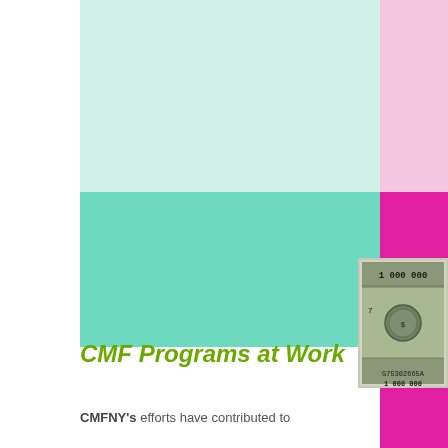[Figure (illustration): Abstract geometric color block design with light mint rectangle (top left), light pink rectangle (top right), teal/medium mint rectangle (middle left), hot magenta rectangle (right column), and a one-million dollar novelty bill image overlapping the magenta and teal blocks.]
CMF Programs at Work
CMFNY's efforts have contributed to